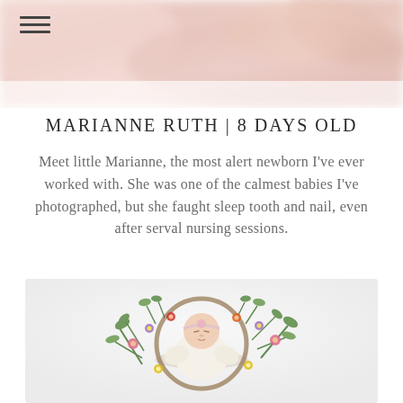[Figure (photo): Blurred close-up of pink soft fabric or blanket, serving as a banner background image at the top of the page]
MARIANNE RUTH | 8 DAYS OLD
Meet little Marianne, the most alert newborn I've ever worked with. She was one of the calmest babies I've photographed, but she faught sleep tooth and nail, even after serval nursing sessions.
[Figure (photo): Newborn baby Marianne dressed in cream white wrap, lying in a small round basket decorated with colorful wildflowers and green foliage, wearing a small headband, photographed on a white background]